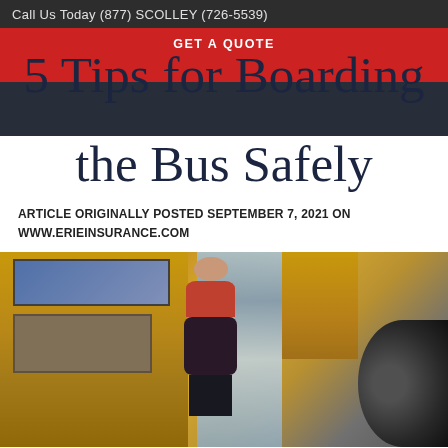Call Us Today (877) SCOLLEY (726-5539)
GET A QUOTE
5 Tips for Boarding the Bus Safely
ARTICLE ORIGINALLY POSTED SEPTEMBER 7, 2021 ON WWW.ERIEINSURANCE.COM
[Figure (photo): Child with backpack boarding a yellow school bus, reaching for the handrail at the open door]